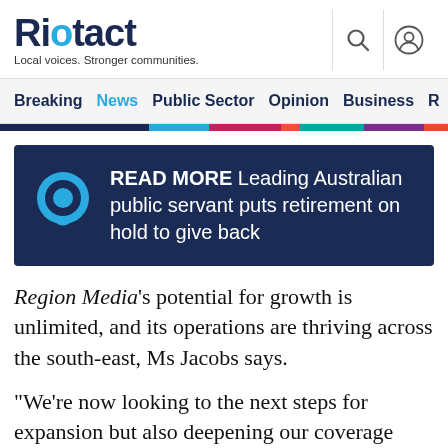Riotact — Local voices. Stronger communities.
Breaking  News  Public Sector  Opinion  Business  R
[Figure (other): READ MORE banner — Leading Australian public servant puts retirement on hold to give back]
Region Media's potential for growth is unlimited, and its operations are thriving across the south-east, Ms Jacobs says.
“We’re now looking to the next steps for expansion but also deepening our coverage